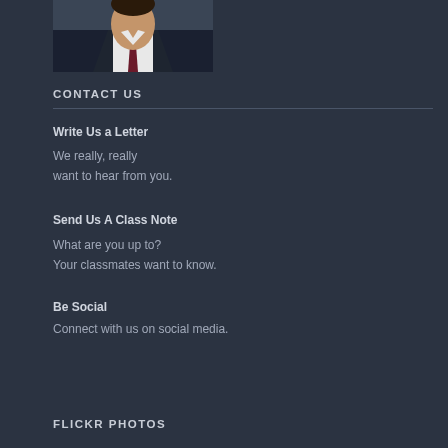[Figure (photo): Portrait photo of a man in a suit with a dark red/maroon tie, partially cropped]
CONTACT US
Write Us a Letter
We really, really want to hear from you.
Send Us A Class Note
What are you up to? Your classmates want to know.
Be Social
Connect with us on social media.
FLICKR PHOTOS